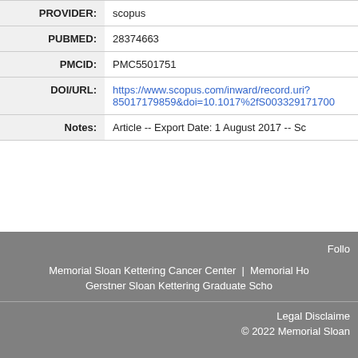| Field | Value |
| --- | --- |
| PROVIDER: | scopus |
| PUBMED: | 28374663 |
| PMCID: | PMC5501751 |
| DOI/URL: | https://www.scopus.com/inward/record.uri?85017179859&doi=10.1017%2fS003329171700... |
| Notes: | Article -- Export Date: 1 August 2017 -- Sc... |
Follow Memorial Sloan Kettering Cancer Center | Memorial Ho... Gerstner Sloan Kettering Graduate Scho... Legal Disclaimer © 2022 Memorial Sloan...